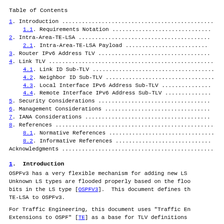Table of Contents
1. Introduction ...........................................
1.1. Requirements Notation ...............................
2. Intra-Area-TE-LSA .....................................
2.1. Intra-Area-TE-LSA Payload ...........................
3. Router IPv6 Address TLV ...............................
4. Link TLV ..............................................
4.1. Link ID Sub-TLV .....................................
4.2. Neighbor ID Sub-TLV .................................
4.3. Local Interface IPv6 Address Sub-TLV ................
4.4. Remote Interface IPv6 Address Sub-TLV ...............
5. Security Considerations ...............................
6. Management Considerations .............................
7. IANA Considerations ...................................
8. References ............................................
8.1. Normative References ................................
8.2. Informative References ..............................
Acknowledgments ..........................................
1.  Introduction
OSPFv3 has a very flexible mechanism for adding new LS Unknown LS types are flooded properly based on the floo bits in the LS type [OSPFV3].  This document defines th TE-LSA to OSPFv3.
For Traffic Engineering, this document uses "Traffic En Extensions to OSPF" [TE] as a base for TLV definitions